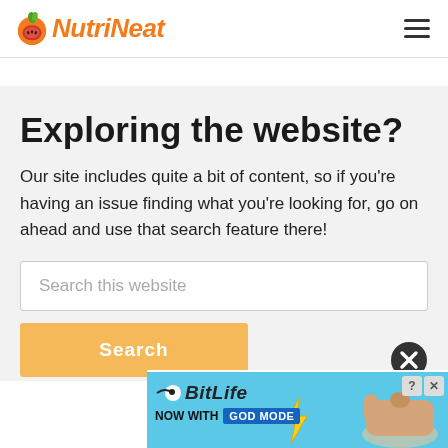NutriNeat
Exploring the website?
Our site includes quite a bit of content, so if you're having an issue finding what you're looking for, go on ahead and use that search feature there!
[Figure (screenshot): Search input box with placeholder text 'Search this website']
[Figure (screenshot): Orange Search button partially visible at bottom]
[Figure (screenshot): BitLife advertisement banner: 'NOW WITH GOD MODE' on blue background with hand illustration and lightning bolt]